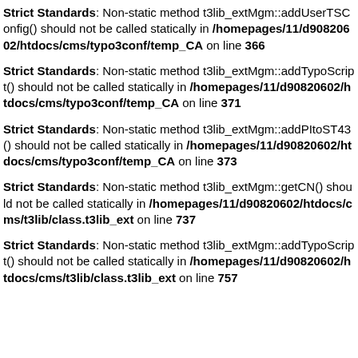Strict Standards: Non-static method t3lib_extMgm::addUserTSConfig() should not be called statically in /homepages/11/d90820602/htdocs/cms/typo3conf/temp_CA on line 366
Strict Standards: Non-static method t3lib_extMgm::addTypoScript() should not be called statically in /homepages/11/d90820602/htdocs/cms/typo3conf/temp_CA on line 371
Strict Standards: Non-static method t3lib_extMgm::addPItoST43() should not be called statically in /homepages/11/d90820602/htdocs/cms/typo3conf/temp_CA on line 373
Strict Standards: Non-static method t3lib_extMgm::getCN() should not be called statically in /homepages/11/d90820602/htdocs/cms/t3lib/class.t3lib_ext on line 737
Strict Standards: Non-static method t3lib_extMgm::addTypoScript() should not be called statically in /homepages/11/d90820602/htdocs/cms/t3lib/class.t3lib_ext on line 757